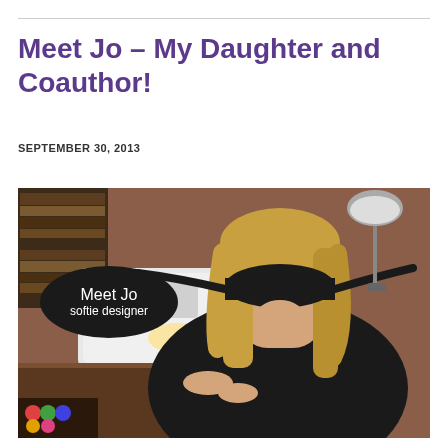Meet Jo – My Daughter and Coauthor!
SEPTEMBER 30, 2013
[Figure (photo): A young girl wearing a black eye mask working at a sewing machine. An oval black speech bubble overlay reads 'Meet Jo softie designer'. The room has bookshelves, a lamp, and colorful fabric items in the background.]